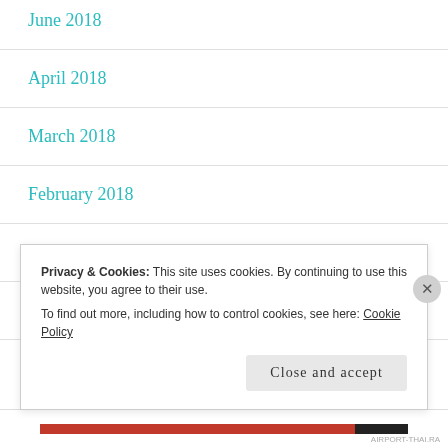June 2018
April 2018
March 2018
February 2018
January 2018
March 2016
Privacy & Cookies: This site uses cookies. By continuing to use this website, you agree to their use.
To find out more, including how to control cookies, see here: Cookie Policy